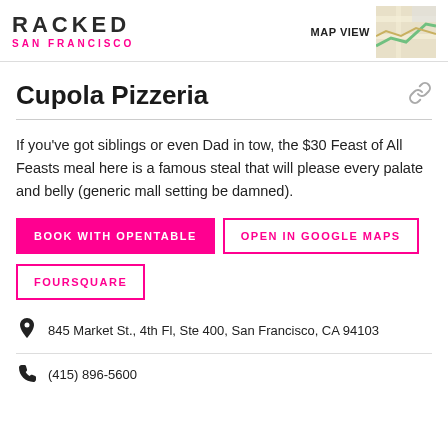RACKED SAN FRANCISCO
Cupola Pizzeria
If you've got siblings or even Dad in tow, the $30 Feast of All Feasts meal here is a famous steal that will please every palate and belly (generic mall setting be damned).
BOOK WITH OPENTABLE
OPEN IN GOOGLE MAPS
FOURSQUARE
845 Market St., 4th Fl, Ste 400, San Francisco, CA 94103
(415) 896-5600